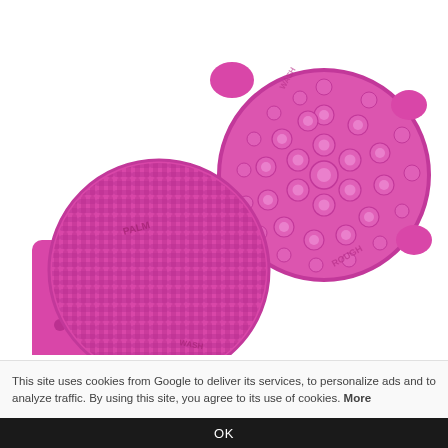[Figure (photo): Two pink/magenta silicone makeup brush cleaning pads. The upper-right one is circular with bubble/dome-shaped nubs and a small handle, with text reading 'ROUGH' and 'WASH'. The lower-left one is circular with a crosshatch/woven texture pattern on a paddle-shaped handle, with text reading 'PAL' and other embossed markings. Both are bright magenta/pink silicone.]
This site uses cookies from Google to deliver its services, to personalize ads and to analyze traffic. By using this site, you agree to its use of cookies. More
OK